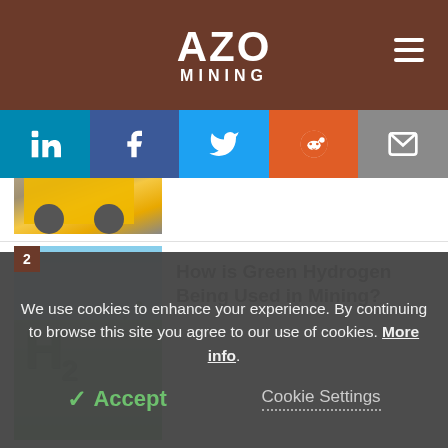AZO MINING
[Figure (screenshot): Social media sharing buttons: LinkedIn, Facebook, Twitter, Reddit, Email]
[Figure (photo): Partial image of mining vehicle (top cropped)]
2
[Figure (photo): Green H2 lettering made of grass/plants on a green field with blue sky background]
How is Green Hydrogen Being Used in Mining?
[Figure (photo): Partial image of article 3 (cropped at bottom)]
Methods to Predict Mini...
We use cookies to enhance your experience. By continuing to browse this site you agree to our use of cookies. More info.
Accept
Cookie Settings